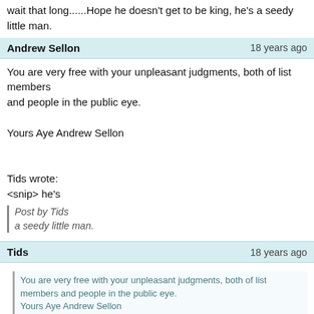wait that long......Hope he doesn't get to be king, he's a seedy little man.
Andrew Sellon   18 years ago
You are very free with your unpleasant judgments, both of list members and people in the public eye.

Yours Aye Andrew Sellon
Tids wrote:
<snip> he's
Post by Tids
a seedy little man.
Tids   18 years ago
You are very free with your unpleasant judgments, both of list members and people in the public eye.
Yours Aye Andrew Sellon
<snip> he's